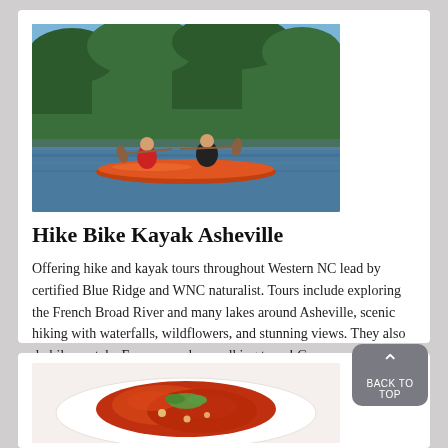[Figure (photo): Two people kayaking on a river with trees in the background]
Hike Bike Kayak Asheville
Offering hike and kayak tours throughout Western NC lead by certified Blue Ridge and WNC naturalist. Tours include exploring the French Broad River and many lakes around Asheville, scenic hiking with waterfalls, wildflowers, and stunning views. They also do bike rentals. Even snowshoe walking tours! Groups are small- no more than 4 unless a group of 5 or 6 books together.
Save to Trip  Go to their website.
[Figure (photo): A plate of food with red sauce and garnish]